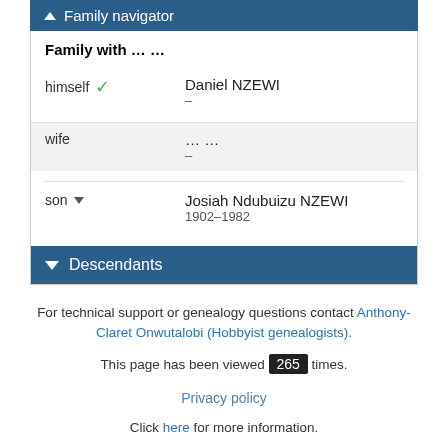Family navigator
| Role | Name | Dates |
| --- | --- | --- |
| Family with … … |  |  |
| himself ✓ | Daniel NZEWI | – |
| wife | … … | – |
| son ▼ | Josiah Ndubuizu NZEWI | 1902–1982 |
Descendants
For technical support or genealogy questions contact Anthony-Claret Onwutalobi (Hobbyist genealogists).
This page has been viewed 265 times.
Privacy policy
Click here for more information.